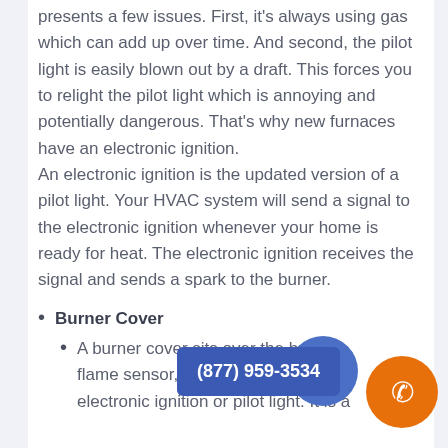presents a few issues. First, it's always using gas which can add up over time. And second, the pilot light is easily blown out by a draft. This forces you to relight the pilot light which is annoying and potentially dangerous. That's why new furnaces have an electronic ignition. An electronic ignition is the updated version of a pilot light. Your HVAC system will send a signal to the electronic ignition whenever your home is ready for heat. The electronic ignition receives the signal and sends a spark to the burner.
Burner Cover
A burner cover sits over the burn flame sensor, blower d electronic ignition or pilot light. It is a